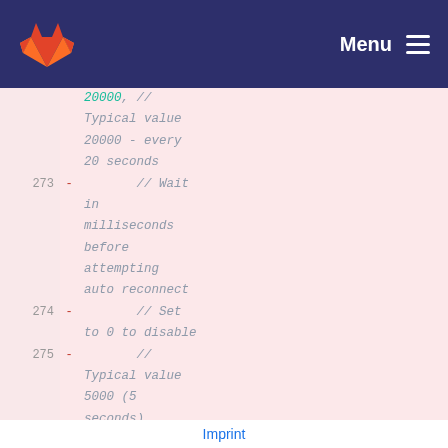[Figure (logo): GitLab fox logo in orange and red on dark navy navigation bar with Menu hamburger icon on the right]
20000, // Typical value 20000 - every 20 seconds
273 -        // Wait in milliseconds before attempting auto reconnect
274 -        // Set to 0 to disable
275 -        // Typical value 5000 (5 seconds)
276 -
           reconnect_delay: 5000,
Imprint